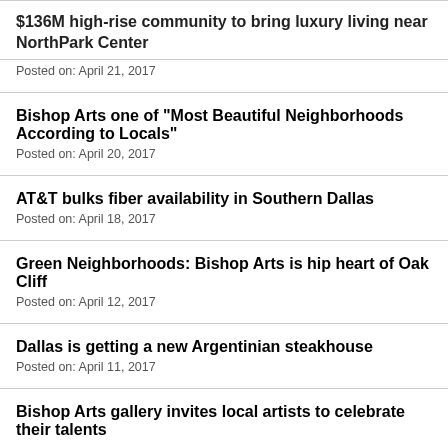$136M high-rise community to bring luxury living near NorthPark Center
Posted on: April 21, 2017
Bishop Arts one of "Most Beautiful Neighborhoods According to Locals"
Posted on: April 20, 2017
AT&T bulks fiber availability in Southern Dallas
Posted on: April 18, 2017
Green Neighborhoods: Bishop Arts is hip heart of Oak Cliff
Posted on: April 12, 2017
Dallas is getting a new Argentinian steakhouse
Posted on: April 11, 2017
Bishop Arts gallery invites local artists to celebrate their talents